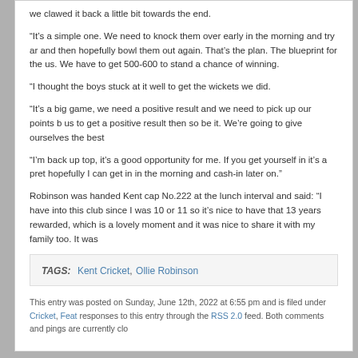we clawed it back a little bit towards the end.
“It’s a simple one. We need to knock them over early in the morning and try an and then hopefully bowl them out again. That’s the plan. The blueprint for the us. We have to get 500-600 to stand a chance of winning.
“I thought the boys stuck at it well to get the wickets we did.
“It’s a big game, we need a positive result and we need to pick up our points b us to get a positive result then so be it. We’re going to give ourselves the best
“I’m back up top, it’s a good opportunity for me. If you get yourself in it’s a pret hopefully I can get in in the morning and cash-in later on.”
Robinson was handed Kent cap No.222 at the lunch interval and said: “I have into this club since I was 10 or 11 so it’s nice to have that 13 years rewarded, which is a lovely moment and it was nice to share it with my family too. It was
TAGS: Kent Cricket, Ollie Robinson
This entry was posted on Sunday, June 12th, 2022 at 6:55 pm and is filed under Cricket, Feat responses to this entry through the RSS 2.0 feed. Both comments and pings are currently clo